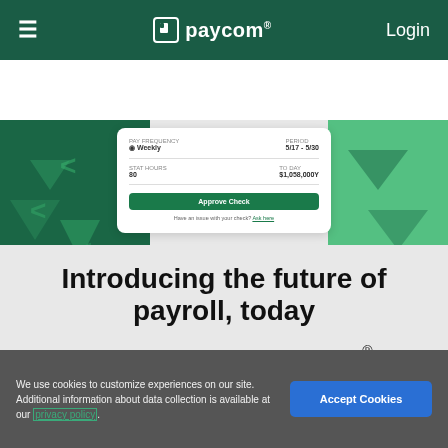≡  paycom®  Login
[Figure (screenshot): Paycom app UI card mockup showing payroll check approval screen with fields for Pay Frequency (Weekly), Period (5/17 - 5/30), Stat Hours, To Day, and an 'Approve Check' button, overlaid on decorative green geometric background elements]
Introducing the future of payroll, today
Our employee-driven payroll experience, Beti®, improves accuracy, reduces employer liability and increases oversight, all by empowering employees
We use cookies to customize experiences on our site. Additional information about data collection is available at our privacy policy.